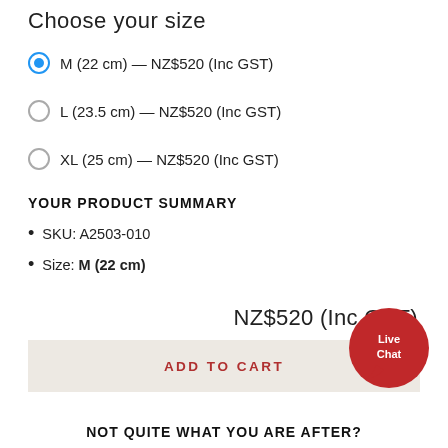Choose your size
M (22cm) — NZ$520 (Inc GST)
L (23.5cm) — NZ$520 (Inc GST)
XL (25cm) — NZ$520 (Inc GST)
YOUR PRODUCT SUMMARY
SKU: A2503-010
Size: M (22cm)
NZ$520 (Inc GST)
ADD TO CART
Live Chat
NOT QUITE WHAT YOU ARE AFTER?